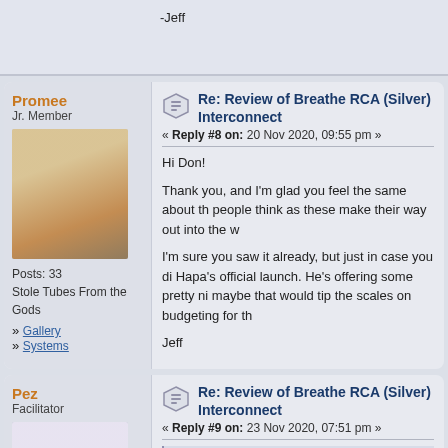-Jeff
Promee
Jr. Member
Posts: 33
Stole Tubes From the Gods
» Gallery
» Systems
Re: Review of Breathe RCA (Silver) Interconnect
« Reply #8 on: 20 Nov 2020, 09:55 pm »
Hi Don!

Thank you, and I'm glad you feel the same about th... people think as these make their way out into the w...

I'm sure you saw it already, but just in case you di... Hapa's official launch. He's offering some pretty ni... maybe that would tip the scales on budgeting for th...

Jeff
Pez
Facilitator
Re: Review of Breathe RCA (Silver) Interconnect
« Reply #9 on: 23 Nov 2020, 07:51 pm »
Quote from: dflee on 20 Nov 2020, 03:32 am